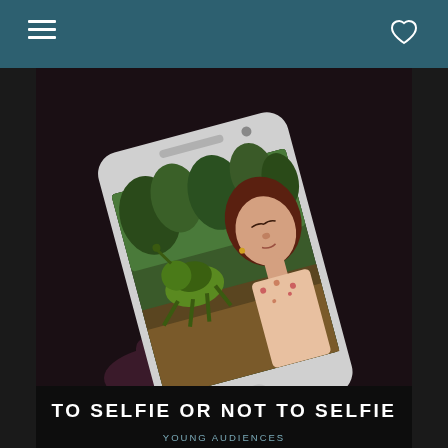[Figure (photo): A smartphone held at an angle displaying a selfie photo of a woman with red-brown hair against a background showing a large green sculptural bee/insect in a garden setting. The phone appears to be a white iPhone-style device.]
TO SELFIE OR NOT TO SELFIE
YOUNG AUDIENCES
EVENTS AND WORKSHOPS